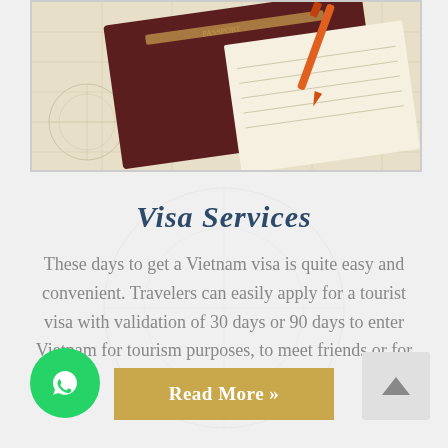[Figure (photo): A passport book with a pen/orange marker on top, resting on map or document pages, viewed from above at an angle.]
Visa Services
These days to get a Vietnam visa is quite easy and convenient. Travelers can easily apply for a tourist visa with validation of 30 days or 90 days to enter Vietnam for tourism purposes, to meet friends or for business visits.